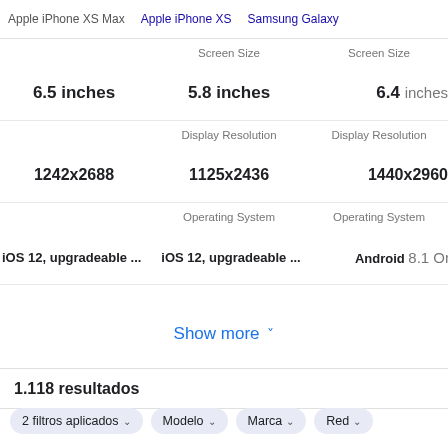Apple iPhone XS Max  Apple iPhone XS  Samsung Galaxy
| Apple iPhone XS Max | Apple iPhone XS | Samsung Galaxy |
| --- | --- | --- |
| Screen Size | Screen Size |  |
| 6.5 inches | 5.8 inches | 6.4 inches |
| Display Resolution | Display Resolution |  |
| 1242x2688 | 1125x2436 | 1440x2960 |
| Operating System | Operating System |  |
| iOS 12, upgradeable ... | iOS 12, upgradeable ... | Android 8.1 Or |
Show more
1.118 resultados
2 filtros aplicados  Modelo  Marca  Red